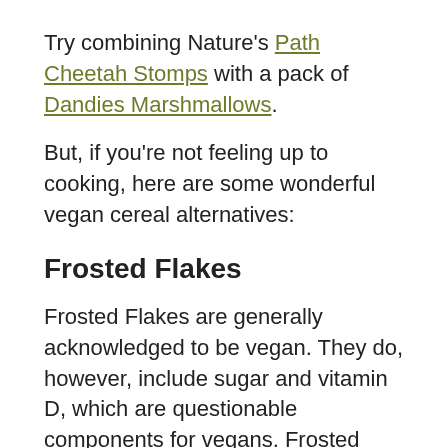Try combining Nature's Path Cheetah Stomps with a pack of Dandies Marshmallows.
But, if you're not feeling up to cooking, here are some wonderful vegan cereal alternatives:
Frosted Flakes
Frosted Flakes are generally acknowledged to be vegan. They do, however, include sugar and vitamin D, which are questionable components for vegans. Frosted Flakes may be avoided by the most committed vegans for this reason.
But I have found some Frosted Flakes flavors that donâ€™t include Vitamin D3 as an ingredient. You